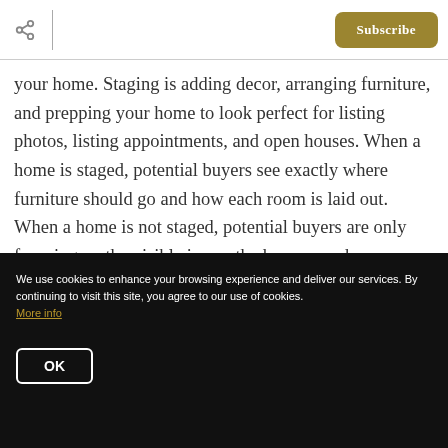Subscribe
your home. Staging is adding decor, arranging furniture, and prepping your home to look perfect for listing photos, listing appointments, and open houses. When a home is staged, potential buyers see exactly where furniture should go and how each room is laid out. When a home is not staged, potential buyers are only focusing on the visible issues the home may have.
We use cookies to enhance your browsing experience and deliver our services. By continuing to visit this site, you agree to our use of cookies. More info
OK